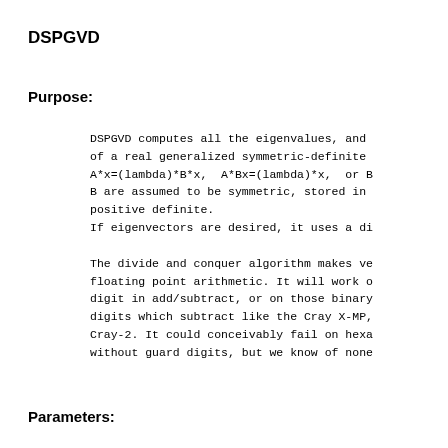DSPGVD
Purpose:
DSPGVD computes all the eigenvalues, and
of a real generalized symmetric-definite
A*x=(lambda)*B*x,  A*Bx=(lambda)*x,  or B
B are assumed to be symmetric, stored in
positive definite.
If eigenvectors are desired, it uses a di

The divide and conquer algorithm makes ve
floating point arithmetic. It will work o
digit in add/subtract, or on those binary
digits which subtract like the Cray X-MP,
Cray-2. It could conceivably fail on hexa
without guard digits, but we know of none
Parameters: